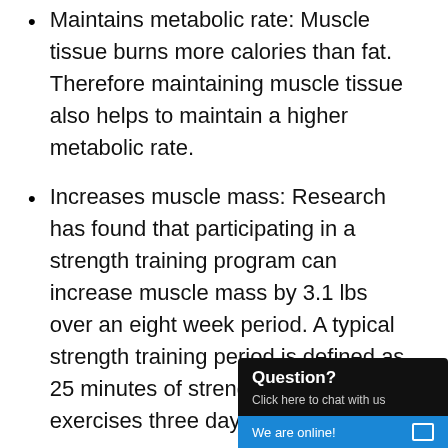Maintains metabolic rate: Muscle tissue burns more calories than fat. Therefore maintaining muscle tissue also helps to maintain a higher metabolic rate.
Increases muscle mass: Research has found that participating in a strength training program can increase muscle mass by 3.1 lbs over an eight week period. A typical strength training period is defined as 25 minutes of strength training exercises three days per week.
Increases bone density: Research has also found that continuous resistant training has similar effects on bone tissue that strength training also inc...